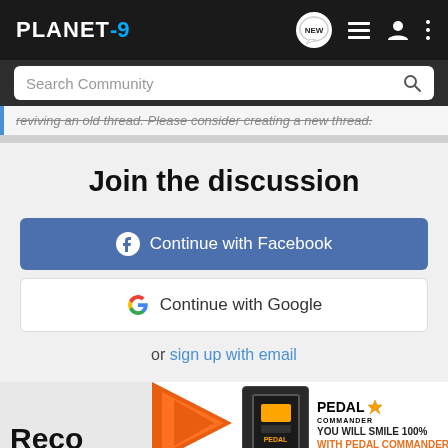PLANET-9 | navigation bar with NEW, list, user, and more icons
Search Community
reviving an old thread. Please consider creating a new thread.
Join the discussion
Continue with Facebook
Continue with Google
or sign up with email
Reco
[Figure (screenshot): Pedal Commander advertisement banner: orange arrow graphic, Pedal Commander device, logo with star, tagline YOU WILL SMILE 100% WITH PEDAL COMMANDER]